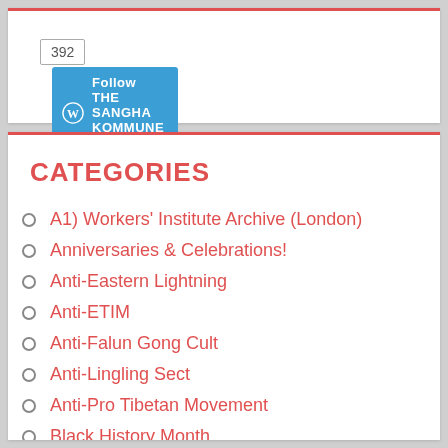[Figure (other): WordPress Follow button for THE SANGHA KOMMUNE (SSR) with follower count 392]
CATEGORIES
A1) Workers' Institute Archive (London)
Anniversaries & Celebrations!
Anti-Eastern Lightning
Anti-ETIM
Anti-Falun Gong Cult
Anti-Lingling Sect
Anti-Pro Tibetan Movement
Black History Month
Buddhism
Celebrating Communist China!